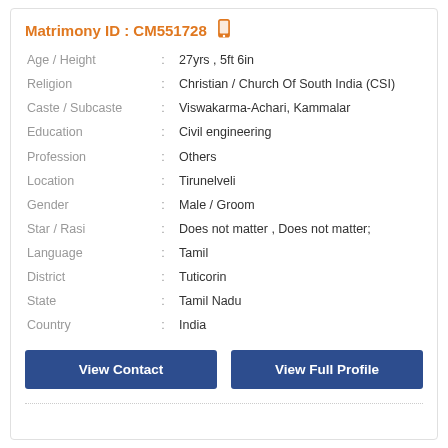Matrimony ID : CM551728
| Field | : | Value |
| --- | --- | --- |
| Age / Height | : | 27yrs , 5ft 6in |
| Religion | : | Christian / Church Of South India (CSI) |
| Caste / Subcaste | : | Viswakarma-Achari, Kammalar |
| Education | : | Civil engineering |
| Profession | : | Others |
| Location | : | Tirunelveli |
| Gender | : | Male / Groom |
| Star / Rasi | : | Does not matter , Does not matter; |
| Language | : | Tamil |
| District | : | Tuticorin |
| State | : | Tamil Nadu |
| Country | : | India |
View Contact
View Full Profile